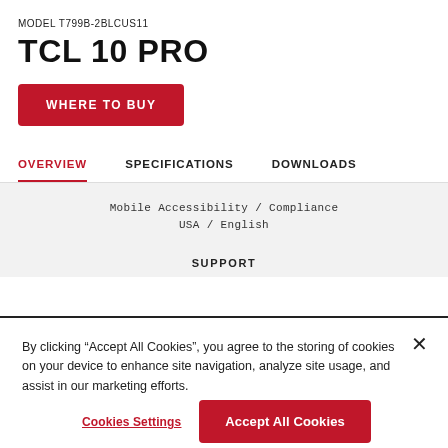MODEL T799B-2BLCUS11
TCL 10 PRO
WHERE TO BUY
OVERVIEW
SPECIFICATIONS
DOWNLOADS
Mobile Accessibility / Compliance
USA / English
SUPPORT
By clicking “Accept All Cookies”, you agree to the storing of cookies on your device to enhance site navigation, analyze site usage, and assist in our marketing efforts.
Cookies Settings
Accept All Cookies